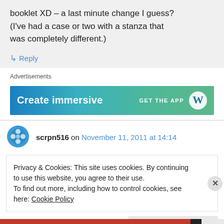booklet XD – a last minute change I guess? (I've had a case or two with a stanza that was completely different.)
↳ Reply
Advertisements
[Figure (screenshot): Advertisement banner with blue-green gradient background reading 'Create immersive' and 'GET THE APP' with WordPress logo]
scrpn516 on November 11, 2011 at 14:14
Privacy & Cookies: This site uses cookies. By continuing to use this website, you agree to their use.
To find out more, including how to control cookies, see here: Cookie Policy
Close and accept